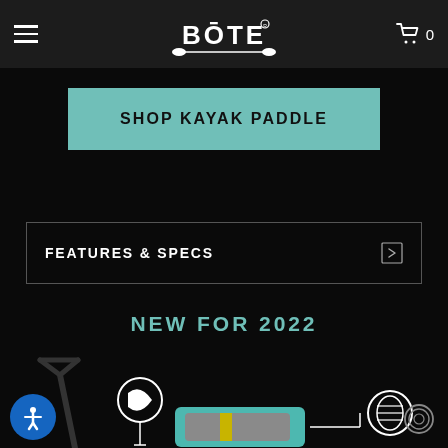BOTE - navigation header with hamburger menu, BOTE logo, and cart icon showing 0
SHOP KAYAK PADDLE
FEATURES & SPECS
NEW FOR 2022
[Figure (photo): Product image showing a kayak paddle and inflatable board/kayak seat with callout icons indicating parts, on a black background.]